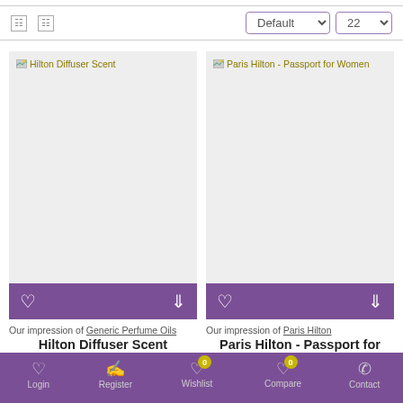[Figure (screenshot): E-commerce product listing page with toolbar, two product cards (Hilton Diffuser Scent and Paris Hilton - Passport for Women), and bottom navigation bar]
Default | 22
[Figure (photo): Hilton Diffuser Scent product image placeholder (grey box)]
Our impression of Generic Perfume Oils
Hilton Diffuser Scent
[Figure (photo): Paris Hilton - Passport for Women product image placeholder (grey box)]
Our impression of Paris Hilton
Paris Hilton - Passport for Women
Login | Register | Wishlist 0 | Compare 0 | Contact